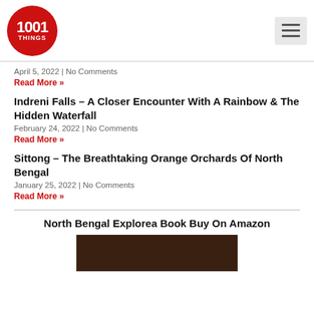1001 THINGS
April 5, 2022 | No Comments
Read More »
Indreni Falls – A Closer Encounter With A Rainbow & The Hidden Waterfall
February 24, 2022 | No Comments
Read More »
Sittong – The Breathtaking Orange Orchards Of North Bengal
January 25, 2022 | No Comments
Read More »
North Bengal Explorea Book Buy On Amazon
[Figure (photo): Book cover image (dark brown background)]